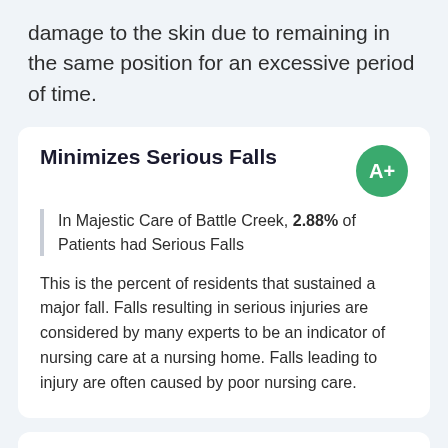damage to the skin due to remaining in the same position for an excessive period of time.
Minimizes Serious Falls
In Majestic Care of Battle Creek, 2.88% of Patients had Serious Falls
This is the percent of residents that sustained a major fall. Falls resulting in serious injuries are considered by many experts to be an indicator of nursing care at a nursing home. Falls leading to injury are often caused by poor nursing care.
Minimizes Urinary Tract Infections
In Majestic Care of Battle Creek, 2.09% of Patients